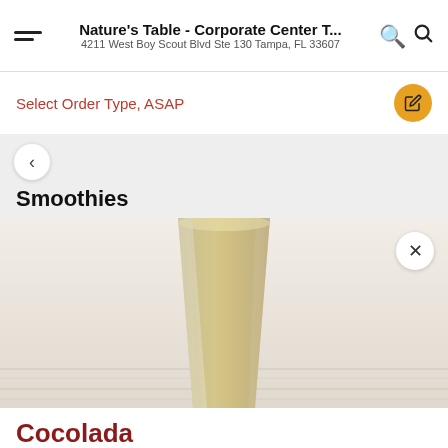Nature's Table - Corporate Center T... | 4211 West Boy Scout Blvd Ste 130 Tampa, FL 33607
Select Order Type, ASAP
Smoothies
[Figure (photo): A tall glass filled with a creamy yellow smoothie, placed on a light wood surface. The smoothie is pale yellow/cream colored.]
Cocolada